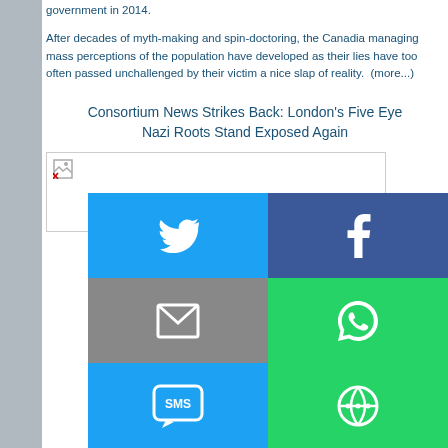government in 2014.
After decades of myth-making and spin-doctoring, the Canadian managing mass perceptions of the population have developed as their lies have too often passed unchallenged by their victim a nice slap of reality.  (more...)
Consortium News Strikes Back: London's Five Eye Nazi Roots Stand Exposed Again
[Figure (photo): Image placeholder with broken image icon]
[Figure (infographic): Social media share buttons grid: Twitter (blue), Facebook (dark blue), Email (grey), WhatsApp (green), SMS (light blue), Other (green)]